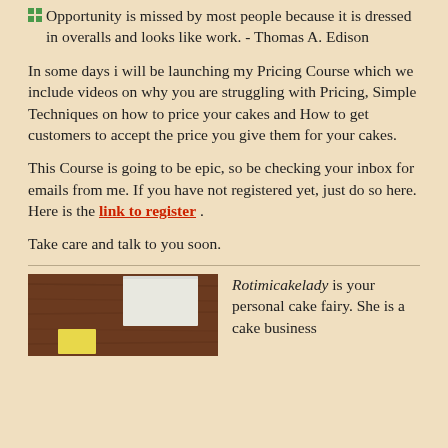Opportunity is missed by most people because it is dressed in overalls and looks like work. - Thomas A. Edison
In some days i will be launching my Pricing Course which we include videos on why you are struggling with Pricing, Simple Techniques on how to price your cakes and How to get customers to accept the price you give them for your cakes.
This Course is going to be epic, so be checking your inbox for emails from me. If you have not registered yet, just do so here. Here is the link to register .
Take care and talk to you soon.
[Figure (photo): Photo of a brown wooden surface with sticky notes - yellow and white papers]
Rotimicakelady is your personal cake fairy. She is a cake business